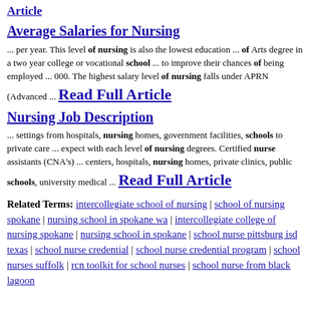Article
Average Salaries for Nursing
... per year. This level of nursing is also the lowest education ... of Arts degree in a two year college or vocational school ... to improve their chances of being employed ... 000. The highest salary level of nursing falls under APRN (Advanced ... Read Full Article
Nursing Job Description
... settings from hospitals, nursing homes, government facilities, schools to private care ... expect with each level of nursing degrees. Certified nurse assistants (CNA's) ... centers, hospitals, nursing homes, private clinics, public schools, university medical ... Read Full Article
Related Terms: intercollegiate school of nursing | school of nursing spokane | nursing school in spokane wa | intercollegiate college of nursing spokane | nursing school in spokane | school nurse pittsburg isd texas | school nurse credential | school nurse credential program | school nurses suffolk | rcn toolkit for school nurses | school nurse from black lagoon